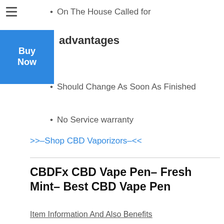On The House Called for
advantages
Should Change As Soon As Finished
No Service warranty
>>–Shop CBD Vaporizors–<<
CBDFx CBD Vape Pen– Fresh Mint– Best CBD Vape Pen
Item Information And Also Benefits